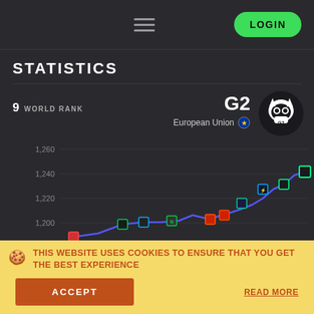LOGIN
STATISTICS
9  WORLD RANK
G2
European Union
[Figure (line-chart): Line chart showing G2 Esports rating over time, rising from approximately 1190 to 1260. Data points are marked with team logos. Y-axis shows values: 1,200, 1,220, 1,240, 1,260.]
THIS WEBSITE USES COOKIES TO ENSURE THAT YOU GET THE BEST EXPERIENCE
ACCEPT
READ MORE